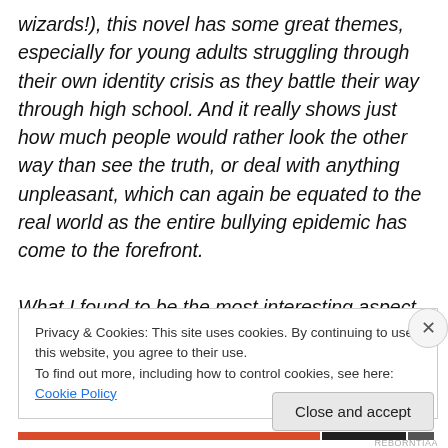wizards!), this novel has some great themes, especially for young adults struggling through their own identity crisis as they battle their way through high school. And it really shows just how much people would rather look the other way than see the truth, or deal with anything unpleasant, which can again be equated to the real world as the entire bullying epidemic has come to the forefront.

What I found to be the most interesting aspect of this novel, however, was the way the Ministry of Magic attempted to control Hogwarts and its teachers, subjecting
Privacy & Cookies: This site uses cookies. By continuing to use this website, you agree to their use.
To find out more, including how to control cookies, see here: Cookie Policy